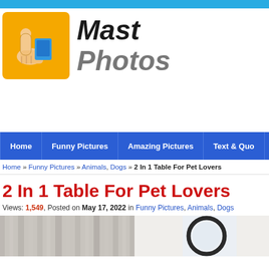[Figure (logo): Mast Photos website logo: yellow square with thumbs-up hand holding a blue card/photo, next to bold italic text 'Mast Photos']
Home | Funny Pictures | Amazing Pictures | Text & Quo...
Home » Funny Pictures » Animals, Dogs » 2 In 1 Table For Pet Lovers
2 In 1 Table For Pet Lovers
Views: 1,549, Posted on May 17, 2022 in Funny Pictures, Animals, Dogs
[Figure (photo): Partially visible photo of a room with curtains/blinds on the left, and a circular mirror or frame on the right side]